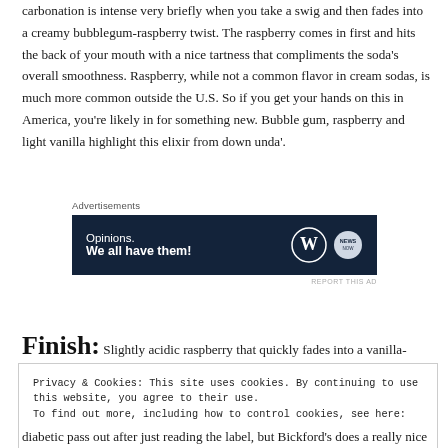carbonation is intense very briefly when you take a swig and then fades into a creamy bubblegum-raspberry twist. The raspberry comes in first and hits the back of your mouth with a nice tartness that compliments the soda's overall smoothness. Raspberry, while not a common flavor in cream sodas, is much more common outside the U.S. So if you get your hands on this in America, you're likely in for something new. Bubble gum, raspberry and light vanilla highlight this elixir from down unda'.
[Figure (other): Advertisement banner with dark navy background. Text reads 'Opinions. We all have them!' with WordPress logo and another circular logo on the right.]
Finish: Slightly acidic raspberry that quickly fades into a vanilla-
Privacy & Cookies: This site uses cookies. By continuing to use this website, you agree to their use. To find out more, including how to control cookies, see here: Cookie Policy
diabetic pass out after just reading the label, but Bickford's does a really nice